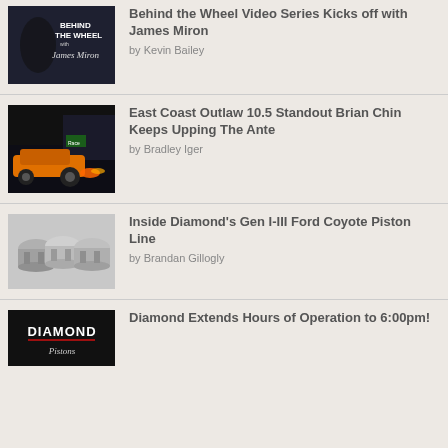[Figure (photo): Behind the Wheel with James Miron promotional image, dark background with stylized text]
Behind the Wheel Video Series Kicks off with James Miron
by Kevin Bailey
[Figure (photo): Orange drag racing car at night with fire from exhaust, crowd in background]
East Coast Outlaw 10.5 Standout Brian Chin Keeps Upping The Ante
by Bradley Iger
[Figure (photo): Three Diamond pistons on gray background]
Inside Diamond's Gen I-III Ford Coyote Piston Line
by Brandan Gillogly
[Figure (logo): Diamond Pistons logo on black background]
Diamond Extends Hours of Operation to 6:00pm!